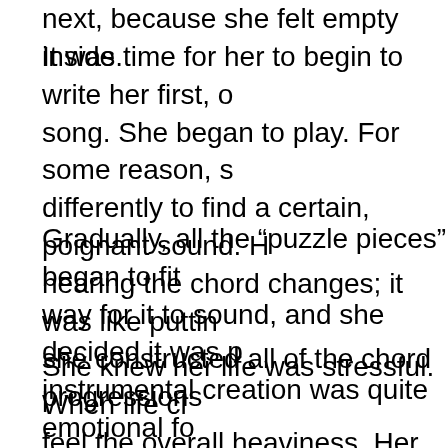next, because she felt empty inside.
It was time for her to begin to write her first, original song. She began to play. For some reason, she heard differently to find a certain, poignant sound. Her ear was hearing the chord changes; it was like putting a puzzle as she constructed all of the chord progressions
Gradually, all the “puzzle pieces” began to fit together in a way for it to sound, and she decided it was perfect. Her instrumental creation was quite emotional for
She knew her life was stressful. When life closed in, she could feel the overall heaviness. Her sadness began when the weather began to warm up. It was a reminder for her that spring was turning to summer, and her dead child’s birthday was approaching. It would be nineteen years since he had died.
Her music spoke to her without words, and e With more mixing she had found f dd b